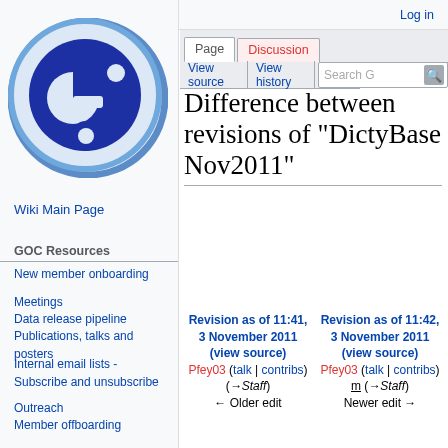Log in
[Figure (logo): GOC (Gene Ontology Consortium) circular logo with blue 'go' letters design]
Wiki Main Page
GOC Resources
New member onboarding
Meetings
Data release pipeline
Publications, talks and posters
Internal email lists - Subscribe and unsubscribe
Outreach
Member offboarding
Difference between revisions of "DictyBase Nov2011"
| Revision as of 11:41, 3 November 2011 (view source) | Revision as of 11:42, 3 November 2011 (view source) |
| --- | --- |
| Pfey03 (talk | contribs) | Pfey03 (talk | contribs) |
| (→Staff) | m (→Staff) |
| ← Older edit | Newer edit → |